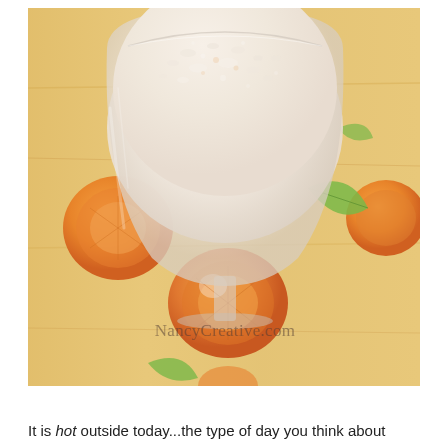[Figure (photo): A close-up photo of a creamy white smoothie in a clear stemmed glass, viewed from above at an angle. The glass sits on a light wood surface surrounded by orange citrus fruit slices and green leaves. A watermark reads 'NancyCreative.com' in the lower center of the image.]
It is hot outside today...the type of day you think about